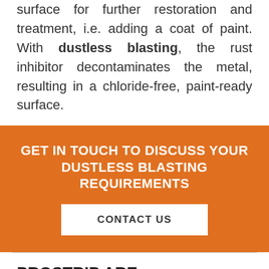surface for further restoration and treatment, i.e. adding a coat of paint. With dustless blasting, the rust inhibitor decontaminates the metal, resulting in a chloride-free, paint-ready surface.
GET IN TOUCH TO DISCUSS YOUR DUSTLESS BLASTING REQUIREMENTS
CONTACT US
PROSTRIP ARE MELBOURNE'S LEADING COMMERCIAL & INDUSTRIAL BLASTING